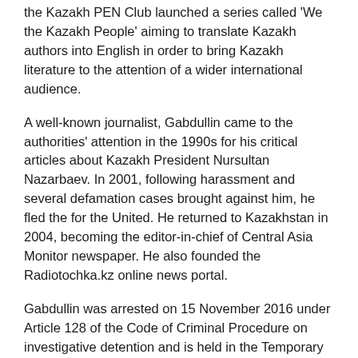the Kazakh PEN Club launched a series called 'We the Kazakh People' aiming to translate Kazakh authors into English in order to bring Kazakh literature to the attention of a wider international audience.
A well-known journalist, Gabdullin came to the authorities' attention in the 1990s for his critical articles about Kazakh President Nursultan Nazarbaev. In 2001, following harassment and several defamation cases brought against him, he fled the for the United. He returned to Kazakhstan in 2004, becoming the editor-in-chief of Central Asia Monitor newspaper. He also founded the Radiotochka.kz online news portal.
Gabdullin was arrested on 15 November 2016 under Article 128 of the Code of Criminal Procedure on investigative detention and is held in the Temporary Detention Facility of the Department of Internal Affairs in the capital Astana. Kazakhstan's National Anti-Corruption Bureau released a statement alleging that Bigeldy Gabdullin used his positions as editor-in-chief of the Central Asia Monitor and director of Radiotochka to